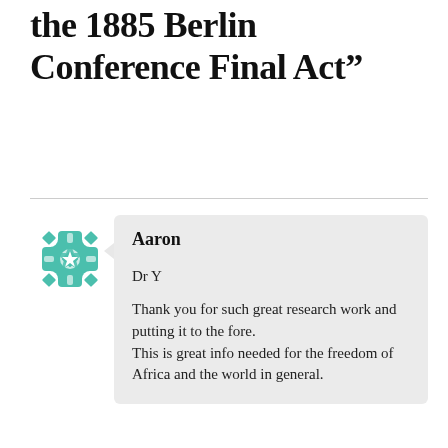the 1885 Berlin Conference Final Act"
Aaron
Dr Y

Thank you for such great research work and putting it to the fore.
This is great info needed for the freedom of Africa and the world in general.